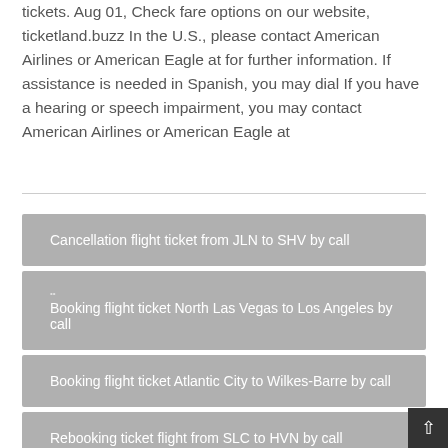tickets. Aug 01, Check fare options on our website, ticketland.buzz In the U.S., please contact American Airlines or American Eagle at for further information. If assistance is needed in Spanish, you may dial If you have a hearing or speech impairment, you may contact American Airlines or American Eagle at
Cancellation flight ticket from JLN to SHV by call
Booking flight ticket North Las Vegas to Los Angeles by call
Booking flight ticket Atlantic City to Wilkes-Barre by call
Rebooking ticket flight from SLC to HVN by call